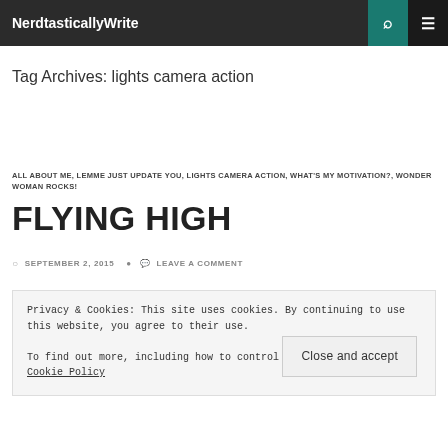NerdtasticallyWrite
Tag Archives: lights camera action
ALL ABOUT ME, LEMME JUST UPDATE YOU, LIGHTS CAMERA ACTION, WHAT'S MY MOTIVATION?, WONDER WOMAN ROCKS!
FLYING HIGH
SEPTEMBER 2, 2015   LEAVE A COMMENT
Privacy & Cookies: This site uses cookies. By continuing to use this website, you agree to their use.
To find out more, including how to control cookies, see here: Cookie Policy
Close and accept